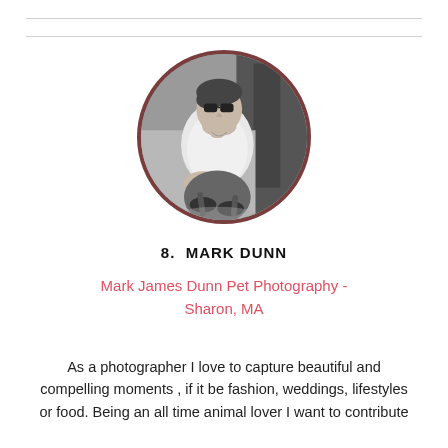[Figure (photo): Circular portrait photo of Mark Dunn, a man in a white t-shirt seated and looking upward, in black and white, with a dark brown circular border.]
8.  MARK DUNN
Mark James Dunn Pet Photography - Sharon, MA
As a photographer I love to capture beautiful and compelling moments , if it be fashion, weddings, lifestyles or food. Being an all time animal lover I want to contribute